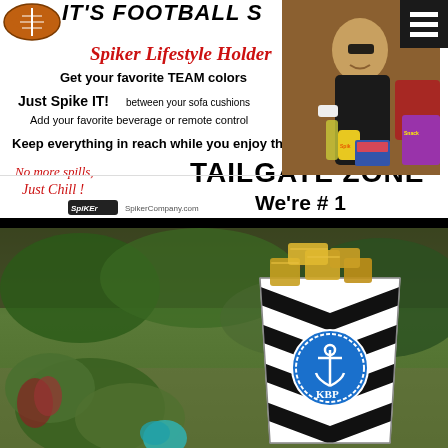[Figure (photo): Advertisement for Spiker Lifestyle Holder - a sofa cushion drink/remote holder. Shows text 'IT'S FOOTBALL S...' at top, product name in red italic, usage instructions, 'TAILGATE ZONE We're #1' at bottom right, cursive red text 'No more spills, Just Chill!' at bottom left, Spiker logo and SpikerCompany.com. Right side shows photo of man sitting on couch holding the product (yellow Spiker holder with bottle) and reading. Dark hamburger menu icon top right corner.]
[Figure (photo): Outdoor photo of a black and white chevron patterned bucket/tote filled with gold-wrapped gifts or chocolates, with a blue circular monogram badge showing an anchor and letters 'KBP'. Background shows green plants/shrubs and a teal/aqua colored object in lower left.]